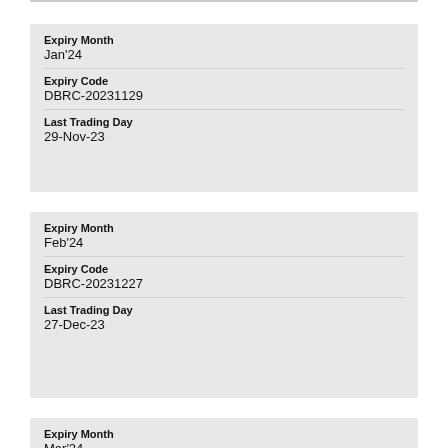| Field | Value |
| --- | --- |
| Expiry Month | Jan'24 |
| Expiry Code | DBRC-20231129 |
| Last Trading Day | 29-Nov-23 |
| Field | Value |
| --- | --- |
| Expiry Month | Feb'24 |
| Expiry Code | DBRC-20231227 |
| Last Trading Day | 27-Dec-23 |
| Field | Value |
| --- | --- |
| Expiry Month | Mar'24 |